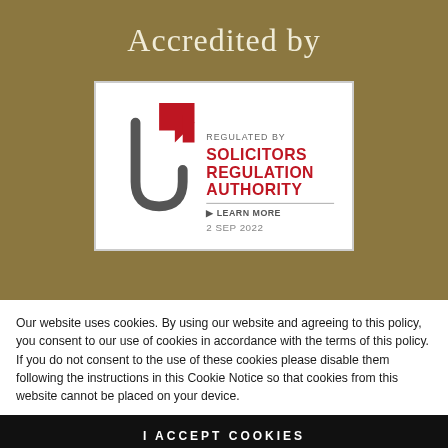Accredited by
[Figure (logo): Solicitors Regulation Authority logo — regulated by SRA badge with checkmark/arrow symbol, text 'REGULATED BY SOLICITORS REGULATION AUTHORITY', 'LEARN MORE', '2 SEP 2022']
Our website uses cookies. By using our website and agreeing to this policy, you consent to our use of cookies in accordance with the terms of this policy. If you do not consent to the use of these cookies please disable them following the instructions in this Cookie Notice so that cookies from this website cannot be placed on your device.
I ACCEPT COOKIES